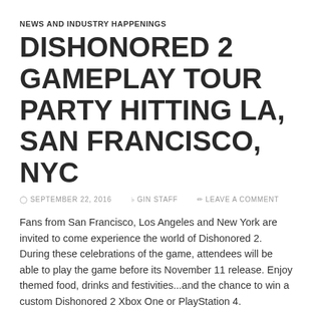NEWS AND INDUSTRY HAPPENINGS
DISHONORED 2 GAMEPLAY TOUR PARTY HITTING LA, SAN FRANCISCO, NYC
© SEPTEMBER 22, 2016   ♣ GIN STAFF   ✉ LEAVE A COMMENT
Fans from San Francisco, Los Angeles and New York are invited to come experience the world of Dishonored 2. During these celebrations of the game, attendees will be able to play the game before its November 11 release. Enjoy themed food, drinks and festivities...and the chance to win a custom Dishonored 2 Xbox One or PlayStation 4.
WHAT: Dishonored 2 Event | Karnaca Needs You!
• Hands-on with Dishonored 2: